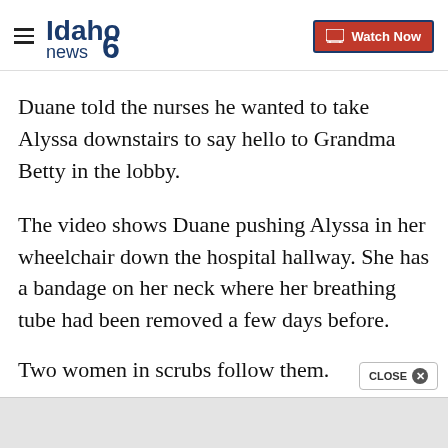Idaho news6 | Watch Now
Duane told the nurses he wanted to take Alyssa downstairs to say hello to Grandma Betty in the lobby.
The video shows Duane pushing Alyssa in her wheelchair down the hospital hallway. She has a bandage on her neck where her breathing tube had been removed a few days before.
Two women in scrubs follow them.